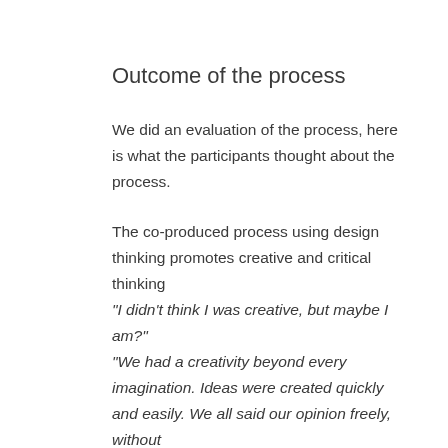Outcome of the process
We did an evaluation of the process, here is what the participants thought about the process.
The co-produced process using design thinking promotes creative and critical thinking
“I didn’t think I was creative, but maybe I am?”
“We had a creativity beyond every imagination. Ideas were created quickly and easily. We all said our opinion freely, without